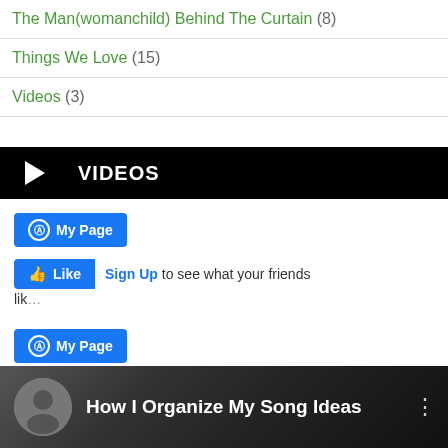The Man(womanchild) Behind The Curtain (8)
Things We Love (15)
Videos (3)
VIDEOS
[Figure (screenshot): Facebook My Page button, Like button with Sign Up link and truncated text]
[Figure (screenshot): Facebook My Page button, Like button with Sign Up link, truncated text, and Twitter Tweet button]
[Figure (screenshot): Video thumbnail: How I Organize My Song Ideas with avatar and menu dots]